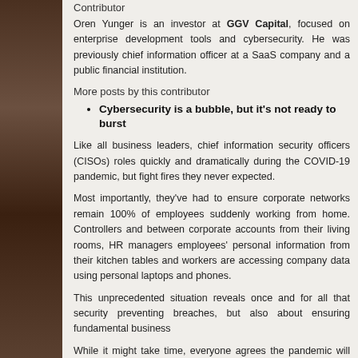Contributor
Oren Yunger is an investor at GGV Capital, focused on enterprise development tools and cybersecurity. He was previously chief information officer at a SaaS company and a public financial institution.
More posts by this contributor
Cybersecurity is a bubble, but it's not ready to burst
Like all business leaders, chief information security officers (CISOs) roles quickly and dramatically during the COVID-19 pandemic, but fight fires they never expected.
Most importantly, they've had to ensure corporate networks remain 100% of employees suddenly working from home. Controllers and between corporate accounts from their living rooms, HR managers employees' personal information from their kitchen tables and workers are accessing company data using personal laptops and phones.
This unprecedented situation reveals once and for all that security is not only about preventing breaches, but also about ensuring fundamental business continuity.
While it might take time, everyone agrees the pandemic will end. What will the cybersecurity sector look in a post-COVID-19 world? What type of solutions will CISOs want to buy in the near future, and two years down the road?
To find out, I asked six of the world's leading CISOs to share their experiences during the pandemic and their plans for the future, providing insights on...